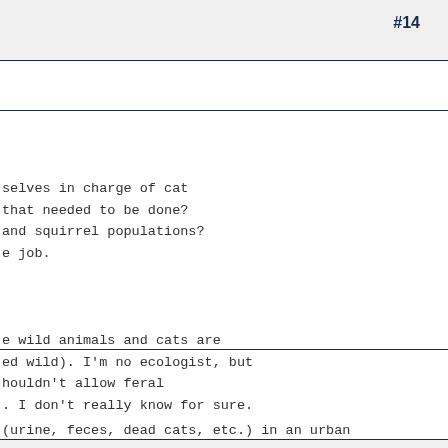#14
selves in charge of cat that needed to be done? and squirrel populations? e job.
e wild animals and cats are ed wild). I'm no ecologist, but houldn't allow feral . I don't really know for sure.
(urine, feces, dead cats, etc.) in an urban